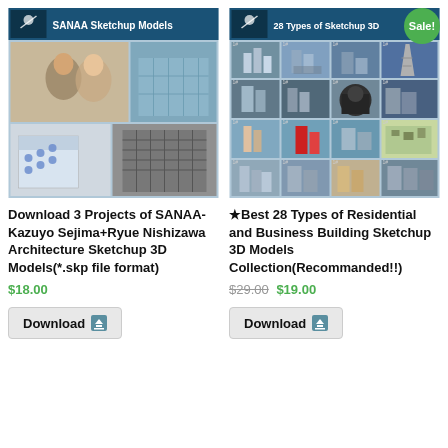[Figure (photo): SANAA Sketchup Models product thumbnail showing architects portraits and 3D architectural models]
[Figure (photo): 28 Types of Sketchup 3D models collection thumbnail showing grid of building renders with Sale badge]
Download 3 Projects of SANAA-Kazuyo Sejima+Ryue Nishizawa Architecture Sketchup 3D Models(*.skp file format)
$18.00
Download
★Best 28 Types of Residential and Business Building Sketchup 3D Models Collection(Recommanded!!)
$29.00 $19.00
Download